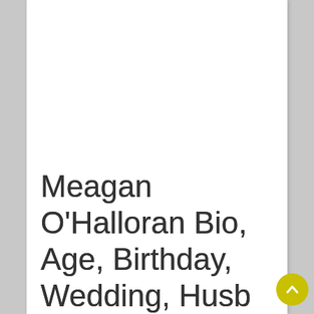Meagan O'Halloran Bio, Age, Birthday, Wedding, Husband